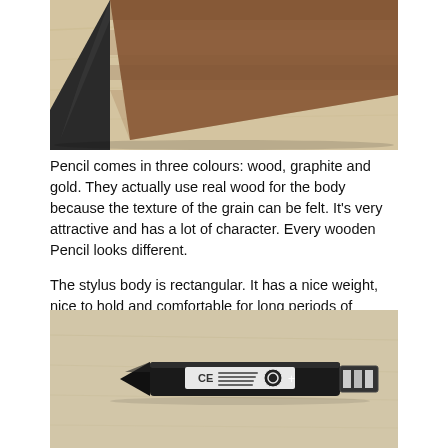[Figure (photo): Close-up photo of a wooden stylus pencil tip resting diagonally on a light wood surface, showing dark graphite tip and wood grain texture.]
Pencil comes in three colours: wood, graphite and gold. They actually use real wood for the body because the texture of the grain can be felt. It's very attractive and has a lot of character. Every wooden Pencil looks different.
The stylus body is rectangular. It has a nice weight, nice to hold and comfortable for long periods of drawing. The build quality is excellent. Finishing is wonderful.
[Figure (photo): Photo of a short black rectangular stylus pencil with CE marking, regulatory text, USB connector on one end, and a pointed tip on the other, resting on a light wood surface.]